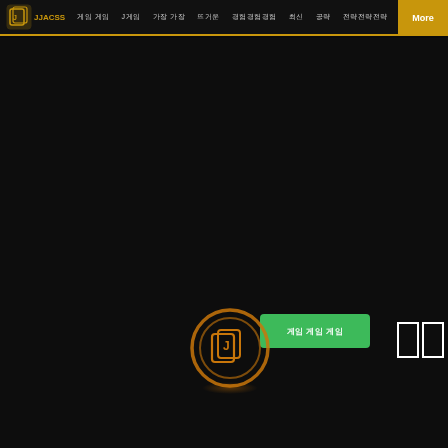JJACSS 게임 J게임 가장 뜨거운 경험 최신 공략 전략 더보기 More
[Figure (screenshot): Dark background main content area with a green button showing Korean text, an orange circular coin/card icon below it, two white rectangle UI panel icons in the bottom right, and a warm glow under the coin icon.]